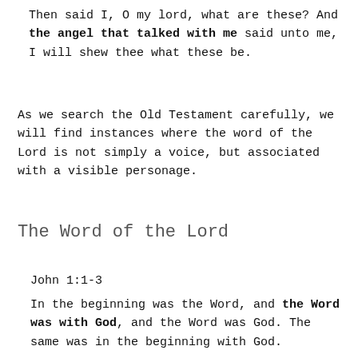Then said I, O my lord, what are these? And the angel that talked with me said unto me, I will shew thee what these be.
As we search the Old Testament carefully, we will find instances where the word of the Lord is not simply a voice, but associated with a visible personage.
The Word of the Lord
John 1:1-3
In the beginning was the Word, and the Word was with God, and the Word was God. The same was in the beginning with God.